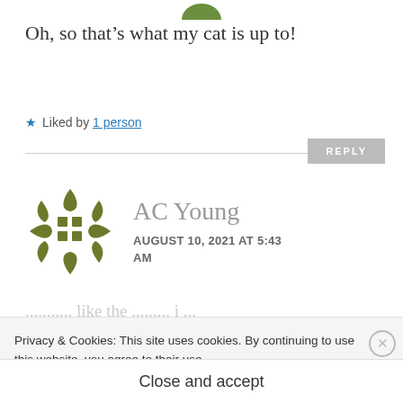Oh, so that's what my cat is up to!
★ Liked by 1 person
REPLY
AC Young
AUGUST 10, 2021 AT 5:43 AM
Privacy & Cookies: This site uses cookies. By continuing to use this website, you agree to their use.
To find out more, including how to control cookies, see here:
Cookie Policy
Close and accept